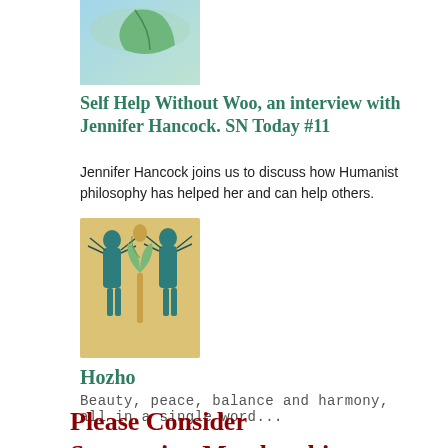[Figure (photo): Thumbnail image showing green leaf on blue sky background]
Self Help Without Woo, an interview with Jennifer Hancock. SN Today #11
Jennifer Hancock joins us to discuss how Humanist philosophy has helped her and can help others.
[Figure (illustration): Illustration depicting Native American figures in traditional attire with a central plant/corn motif, painted on a sandy/tan background in teal and gold tones]
Hozho
Beauty, peace, balance and harmony, all in a single word...
Please Consider Supporting Membership